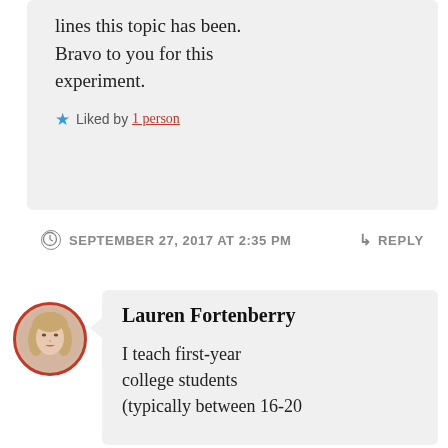lines this topic has been. Bravo to you for this experiment.
Liked by 1 person
SEPTEMBER 27, 2017 AT 2:35 PM
↳ REPLY
[Figure (photo): Circular avatar photo of Lauren Fortenberry with red border]
Lauren Fortenberry
I teach first-year college students (typically between 16-20